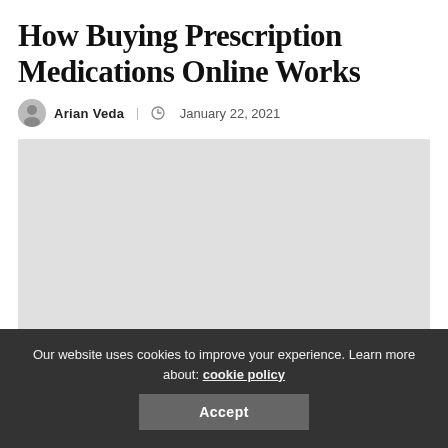How Buying Prescription Medications Online Works
Arian Veda | January 22, 2021
[Figure (photo): Large rectangular placeholder image, light gray background]
Our website uses cookies to improve your experience. Learn more about: cookie policy
Accept